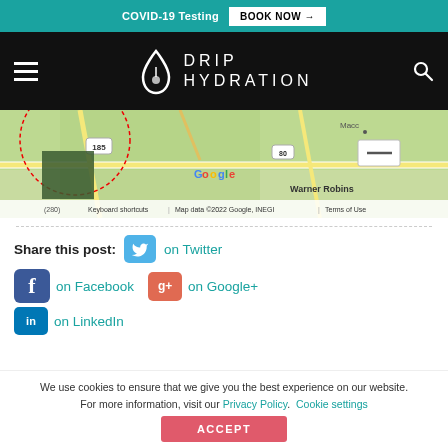COVID-19 Testing  BOOK NOW →
[Figure (logo): Drip Hydration logo with drop icon and text DRIP HYDRATION on black navigation bar with hamburger menu and search icon]
[Figure (map): Google Maps screenshot showing Warner Robins area with roads, including route 185 and 80, with Google watermark and map attribution: Keyboard shortcuts | Map data ©2022 Google, INEGI | Terms of Use]
Share this post:   on Twitter
on Facebook   on Google+
on LinkedIn
We use cookies to ensure that we give you the best experience on our website. For more information, visit our Privacy Policy.   Cookie settings
ACCEPT